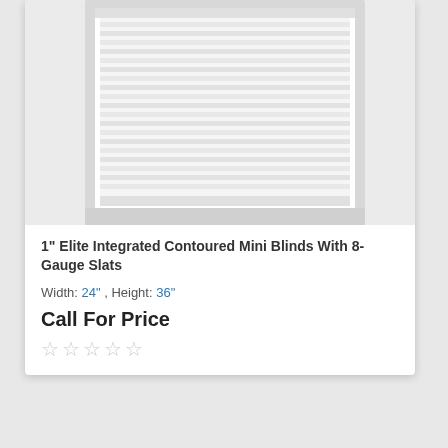[Figure (photo): White horizontal mini blinds product photo showing slats in a window frame against a light grey background]
1" Elite Integrated Contoured Mini Blinds With 8-Gauge Slats
Width: 24" , Height: 36"
Call For Price
☆☆☆☆☆ (5 empty stars rating)